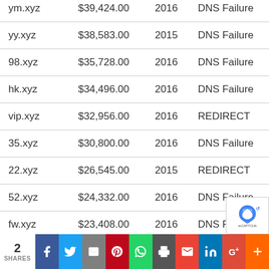| Domain | Price | Year | Status |
| --- | --- | --- | --- |
| ym.xyz | $39,424.00 | 2016 | DNS Failure |
| yy.xyz | $38,583.00 | 2015 | DNS Failure |
| 98.xyz | $35,728.00 | 2016 | DNS Failure |
| hk.xyz | $34,496.00 | 2016 | DNS Failure |
| vip.xyz | $32,956.00 | 2016 | REDIRECT |
| 35.xyz | $30,800.00 | 2016 | DNS Failure |
| 22.xyz | $26,545.00 | 2015 | REDIRECT |
| 52.xyz | $24,332.00 | 2016 | DNS Failure |
| fw.xyz | $23,408.00 | 2016 | DNS Failure |
| dp.xyz | $23,100.00 | 2016 | DNS Failure |